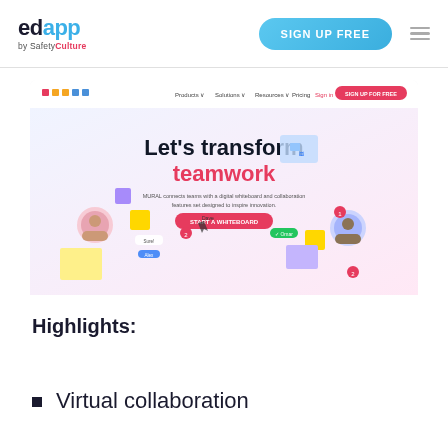[Figure (logo): EdApp by SafetyCulture logo — 'ed' in dark navy, 'app' in blue, 'by SafetyCulture' below in small text with 'Culture' in red]
[Figure (screenshot): Screenshot of MURAL website showing headline 'Let’s transform teamwork' with 'teamwork' in pink/magenta, a pink CTA button, and illustrated collaboration interface with user avatars and digital whiteboard elements]
Highlights:
Virtual collaboration